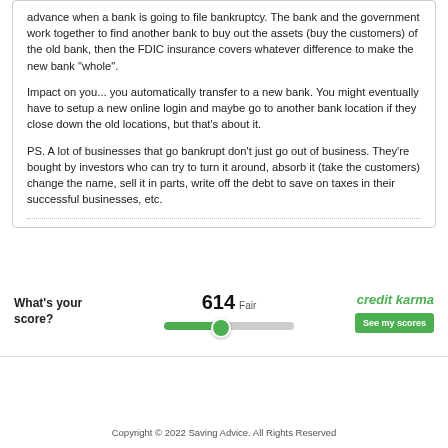advance when a bank is going to file bankruptcy. The bank and the government work together to find another bank to buy out the assets (buy the customers) of the old bank, then the FDIC insurance covers whatever difference to make the new bank "whole".
Impact on you... you automatically transfer to a new bank. You might eventually have to setup a new online login and maybe go to another bank location if they close down the old locations, but that's about it.
PS. A lot of businesses that go bankrupt don't just go out of business. They're bought by investors who can try to turn it around, absorb it (take the customers) change the name, sell it in parts, write off the debt to save on taxes in their successful businesses, etc.
[Figure (infographic): Credit Karma widget showing credit score of 614 Fair, with a green progress bar/slider, Credit Karma logo, and a 'See my scores' button. Label on left reads 'What's your score?']
Copyright © 2022 Saving Advice. All Rights Reserved